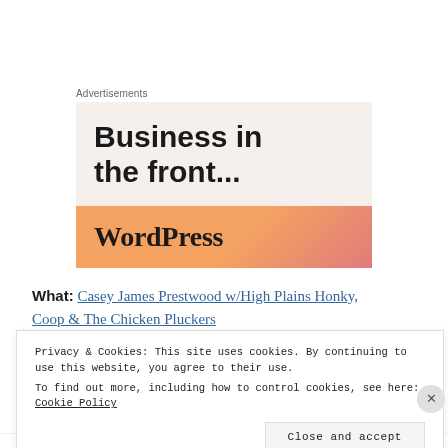Advertisements
[Figure (illustration): WordPress advertisement banner with text 'Business in the front...' on a light beige background, with a lower orange-to-pink gradient bar showing 'WordPress' in bold serif font.]
What: Casey James Prestwood w/High Plains Honky, Coop & The Chicken Pluckers
Privacy & Cookies: This site uses cookies. By continuing to use this website, you agree to their use. To find out more, including how to control cookies, see here: Cookie Policy
Close and accept